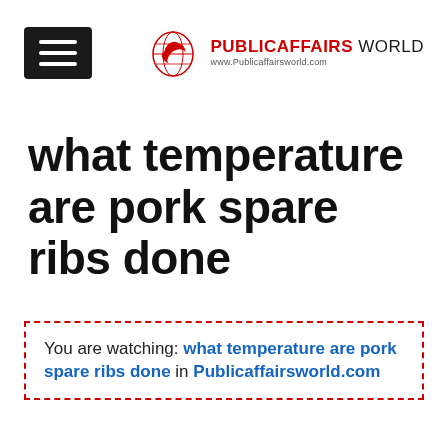PUBLICAFFAIRS WORLD www.Publicaffairsworld.com
what temperature are pork spare ribs done
You are watching: what temperature are pork spare ribs done in Publicaffairsworld.com